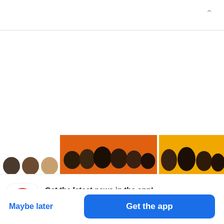[Figure (screenshot): UI chevron/collapse arrow in top right corner of app view]
[Figure (photo): Horizontal photo strip showing partial faces/heads of people on orange backgrounds — three small circular head crops on left, large group photo on orange background in center, partial group on yellow-orange background on right]
Get the latest news in the app!
Stay up to date on the most breaking news, all from your BuzzFeed app.
Maybe later
Get the app